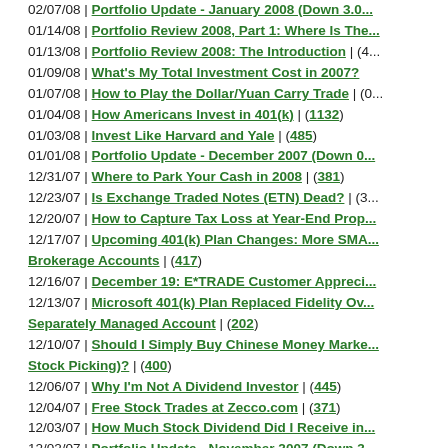02/07/08 | Portfolio Update - January 2008 (Down 3.0...
01/14/08 | Portfolio Review 2008, Part 1: Where Is The...
01/13/08 | Portfolio Review 2008: The Introduction | (4...
01/09/08 | What's My Total Investment Cost in 2007?
01/07/08 | How to Play the Dollar/Yuan Carry Trade | (0...
01/04/08 | How Americans Invest in 401(k) | (1132)
01/03/08 | Invest Like Harvard and Yale | (485)
01/01/08 | Portfolio Update - December 2007 (Down 0...
12/31/07 | Where to Park Your Cash in 2008 | (381)
12/23/07 | Is Exchange Traded Notes (ETN) Dead? | (3...
12/20/07 | How to Capture Tax Loss at Year-End Prop...
12/17/07 | Upcoming 401(k) Plan Changes: More SMA... Brokerage Accounts | (417)
12/16/07 | December 19: E*TRADE Customer Appreci...
12/13/07 | Microsoft 401(k) Plan Replaced Fidelity Ov... Separately Managed Account | (202)
12/10/07 | Should I Simply Buy Chinese Money Marke... Stock Picking)? | (400)
12/06/07 | Why I'm Not A Dividend Investor | (445)
12/04/07 | Free Stock Trades at Zecco.com | (371)
12/03/07 | How Much Stock Dividend Did I Receive in...
12/02/07 | Portfolio Update - November 2007 (Down 3...
11/12/07 | Exchange Traded Notes: A Potential Rule-B...
11/05/07 | Revealing Details of a 401(k) Plan | (367)
11/02/07 | Portfolio Update - October 2007 (Up 3.08%)
10/30/07 | Tax Conscious Stock Sale: A Case Study
10/11/07 | Review of Fidelity Income Replacement Fu...